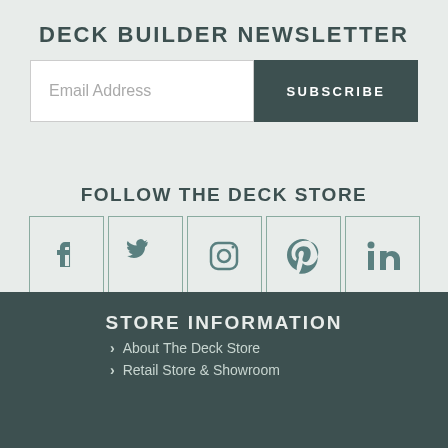DECK BUILDER NEWSLETTER
Email Address
SUBSCRIBE
FOLLOW THE DECK STORE
[Figure (illustration): Row of 5 social media icons in bordered boxes: Facebook, Twitter, Instagram, Pinterest, LinkedIn]
STORE INFORMATION
About The Deck Store
Retail Store & Showroom